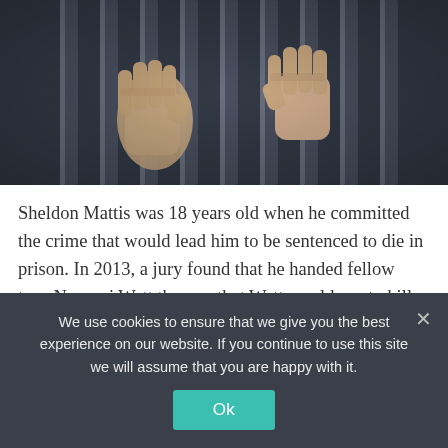[Figure (photo): Hands gripping prison bars, close-up photograph with dark background]
Sheldon Mattis was 18 years old when he committed the crime that would lead him to be sentenced to die in prison. In 2013, a jury found that he handed fellow teen Nyasani Watt the gun that Watt would use to kill another teenager. Although only Watt fired the gun, both were convicted of first-degree...
We use cookies to ensure that we give you the best experience on our website. If you continue to use this site we will assume that you are happy with it.